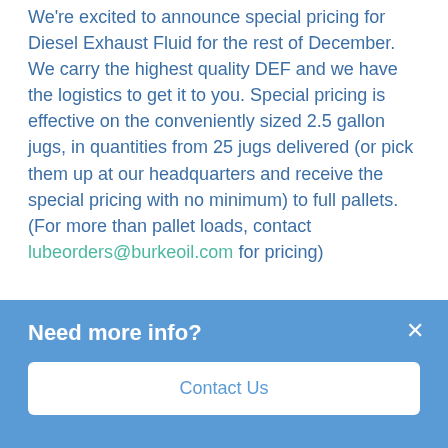We're excited to announce special pricing for Diesel Exhaust Fluid for the rest of December. We carry the highest quality DEF and we have the logistics to get it to you. Special pricing is effective on the conveniently sized 2.5 gallon jugs, in quantities from 25 jugs delivered (or pick them up at our headquarters and receive the special pricing with no minimum) to full pallets. (For more than pallet loads, contact lubeorders@burkeoil.com for pricing)
If you run a fleet requiring DEF, or a shop who's customers require it, this is a great opportunity to stock up and save! Don't wait though, special pricing expires December 31st.
Need more info?
Contact Us